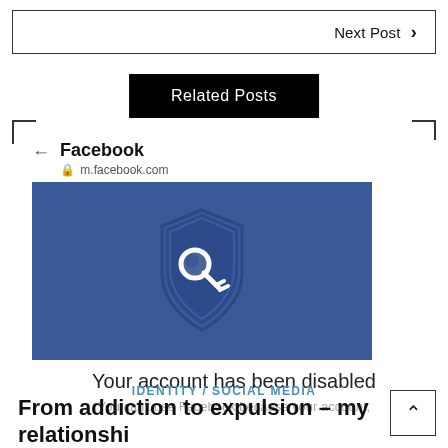Next Post ›
Related Posts
[Figure (screenshot): Facebook mobile browser screenshot showing 'Your account has been disabled' page with a shield and key icon on a blue background, URL bar showing m.facebook.com]
IDENTITY / SOCIAL MEDIA
From addiction to expulsion – my relationshi